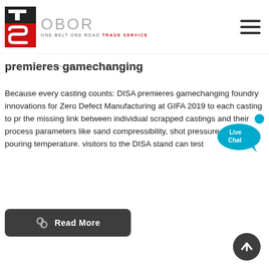[Figure (logo): OBOR Trade Service logo with TS red/black icon and 'OBOR ONE BELT ONE ROAD TRADE SERVICE' text]
premieres gamechanging
Because every casting counts: DISA premieres gamechanging foundry innovations for Zero Defect Manufacturing at GIFA 2019 to each casting to p... the missing link between individual scrapped castings and their process parameters like sand compressibility, shot pressure and pouring temperature. visitors to the DISA stand can test
[Figure (other): Read More button with link icon]
[Figure (other): Live Chat bubble overlay]
[Figure (other): Scroll to top circular button]